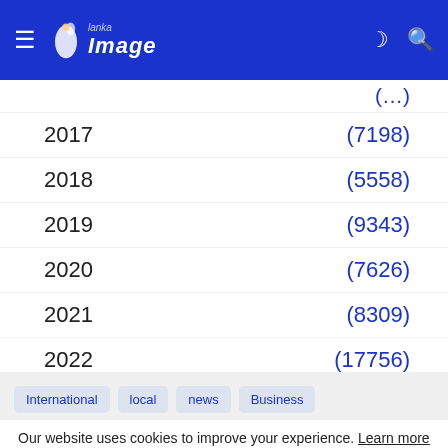Lanka Image
2017  (7198)
2018  (5558)
2019  (9343)
2020  (7626)
2021  (8309)
2022  (17756)
International  local  news  Business
Our website uses cookies to improve your experience. Learn more
Accept !